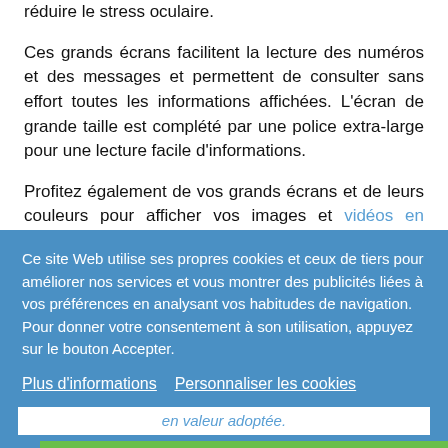réduire le stress oculaire.
Ces grands écrans facilitent la lecture des numéros et des messages et permettent de consulter sans effort toutes les informations affichées. L'écran de grande taille est complété par une police extra-large pour une lecture facile d'informations.
Profitez également de vos grands écrans et de leurs couleurs pour afficher vos images et vidéos en qualité supérieure. Ces couleurs
Ce site Web utilise ses propres cookies et ceux de tiers pour améliorer nos services et vous montrer des publicités liées à vos préférences en analysant vos habitudes de navigation. Pour donner votre consentement à son utilisation, appuyez sur le bouton Accepter.
Plus d'informations   Personnaliser les cookies
REJETER TOUT
J'ACCEPTE